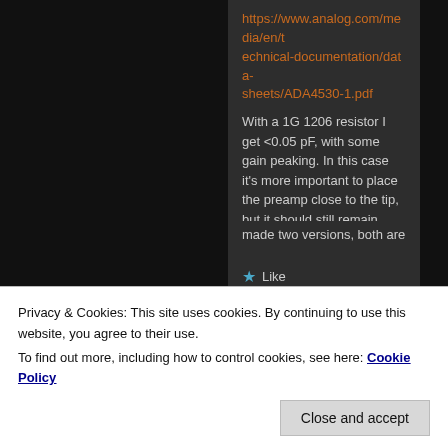https://www.analog.com/media/en/technical-documentation/data-sheets/ADA4530-1.pdf
With a 1G 1206 resistor I get <0.05 pF, with some gain peaking. In this case it's more important to place the preamp close to the tip, but it should still remain stable.
★ Like
Vitor Barbosa
made two versions, both are
Privacy & Cookies: This site uses cookies. By continuing to use this website, you agree to their use.
To find out more, including how to control cookies, see here: Cookie Policy